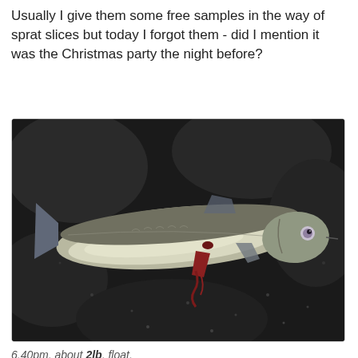Usually I give them some free samples in the way of sprat slices but today I forgot them - did I mention it was the Christmas party the night before?
[Figure (photo): A fish (appears to be a bass or similar species) lying on a dark wet surface, photographed from above. The fish has a pale silver-white belly and darker back, with visible fins and a small dark red mark on its side.]
6.40pm, about 2lb, float.